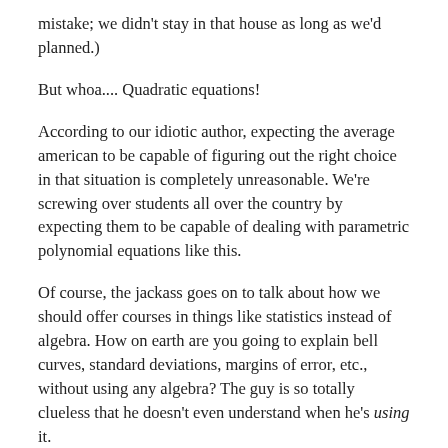mistake; we didn't stay in that house as long as we'd planned.)
But whoa.... Quadratic equations!
According to our idiotic author, expecting the average american to be capable of figuring out the right choice in that situation is completely unreasonable. We're screwing over students all over the country by expecting them to be capable of dealing with parametric polynomial equations like this.
Of course, the jackass goes on to talk about how we should offer courses in things like statistics instead of algebra. How on earth are you going to explain bell curves, standard deviations, margins of error, etc., without using any algebra? The guy is so totally clueless that he doesn't even understand when he's using it.
Total crap. I'm going to leave it with that, because writing